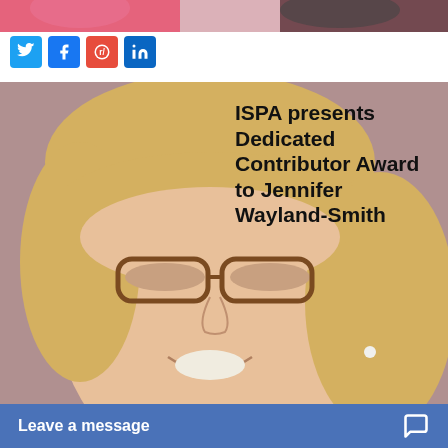[Figure (photo): Top banner showing partial image of people, cropped at top of page]
[Figure (infographic): Social media sharing icons: Twitter (blue bird), Facebook (blue f), Reddit (orange alien), LinkedIn (blue in)]
[Figure (photo): Portrait photo of Jennifer Wayland-Smith, a woman with blonde hair and tortoiseshell glasses, smiling, against a mauve/taupe background. Text overlay reads: ISPA presents Dedicated Contributor Award to Jennifer Wayland-Smith]
ISPA presents Dedicated Contributor Award to Jennifer Wayland-Smith
Leave a message